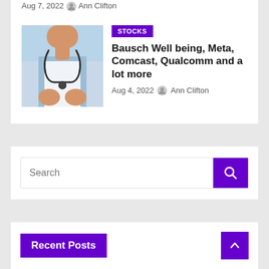Aug 7, 2022  Ann Clifton
[Figure (photo): A person in medical/nursing attire wearing a white uniform with blue trim and a stethoscope around their neck]
STOCKS
Bausch Well being, Meta, Comcast, Qualcomm and a lot more
Aug 4, 2022  Ann Clifton
Search
Recent Posts